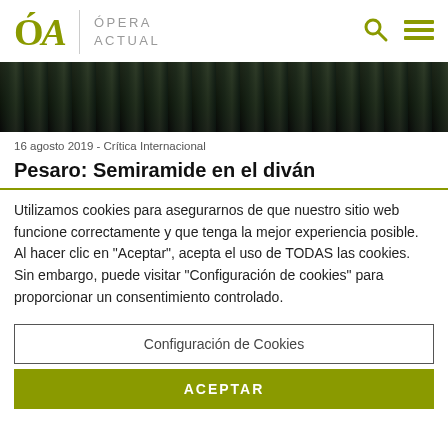ÓA Ópera Actual
[Figure (photo): Dark performance scene with rows of performers in black costumes, stage lighting visible from above]
16 agosto 2019 - Crítica Internacional
Pesaro: Semiramide en el diván
Utilizamos cookies para asegurarnos de que nuestro sitio web funcione correctamente y que tenga la mejor experiencia posible. Al hacer clic en "Aceptar", acepta el uso de TODAS las cookies. Sin embargo, puede visitar "Configuración de cookies" para proporcionar un consentimiento controlado.
Configuración de Cookies
ACEPTAR